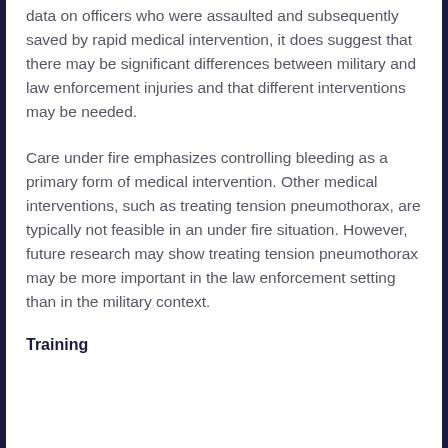data on officers who were assaulted and subsequently saved by rapid medical intervention, it does suggest that there may be significant differences between military and law enforcement injuries and that different interventions may be needed.
Care under fire emphasizes controlling bleeding as a primary form of medical intervention. Other medical interventions, such as treating tension pneumothorax, are typically not feasible in an under fire situation. However, future research may show treating tension pneumothorax may be more important in the law enforcement setting than in the military context.
Training